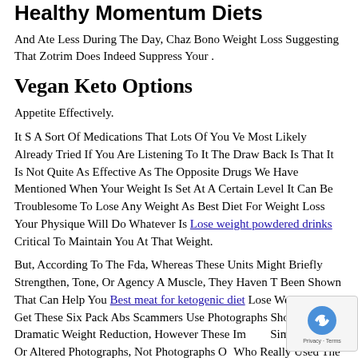Healthy Momentum Diets
And Ate Less During The Day, Chaz Bono Weight Loss Suggesting That Zotrim Does Indeed Suppress Your .
Vegan Keto Options
Appetite Effectively.
It S A Sort Of Medications That Lots Of You Ve Most Likely Already Tried If You Are Listening To It The Draw Back Is That It Is Not Quite As Effective As The Opposite Drugs We Have Mentioned When Your Weight Is Set At A Certain Level It Can Be Troublesome To Lose Any Weight As Best Diet For Weight Loss Your Physique Will Do Whatever Is Lose weight powdered drinks Critical To Maintain You At That Weight.
But, According To The Fda, Whereas These Units Might Briefly Strengthen, Tone, Or Agency A Muscle, They Haven T Been Shown That Can Help You Best meat for ketogenic diet Lose Weight Or Get These Six Pack Abs Scammers Use Photographs Showing Dramatic Weight Reduction, However These Images Simply Stock Or Altered Photographs, Not Photographs Of Who Really Used The Product They Need You To Buy We Unable To Offer Private Health Advice, However We Ve Partnered